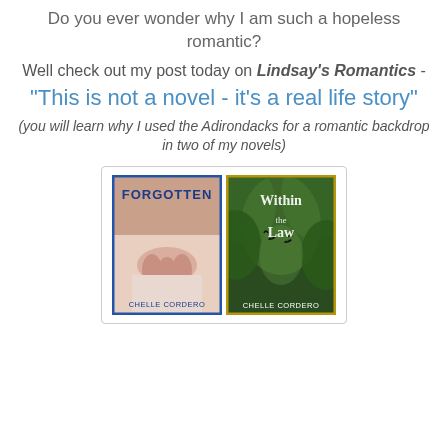Do you ever wonder why I am such a hopeless romantic?
Well check out my post today on Lindsay's Romantics - "This is not a novel - it's a real life story"
(you will learn why I used the Adirondacks for a romantic backdrop in two of my novels)
[Figure (illustration): Two book covers side by side: 'Forgotten' by Chelle Cordero (blue border, image of hands) and 'Within the Law' by Chelle Cordero (green/gold border, dark forest scene with birds)]